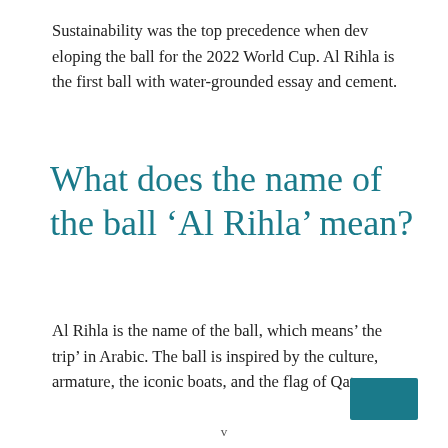Sustainability was the top precedence when developing the ball for the 2022 World Cup. Al Rihla is the first ball with water-grounded essay and cement.
What does the name of the ball ‘Al Rihla’ mean?
Al Rihla is the name of the ball, which means’ the trip’ in Arabic. The ball is inspired by the culture, armature, the iconic boats, and the flag of Qatar.
v